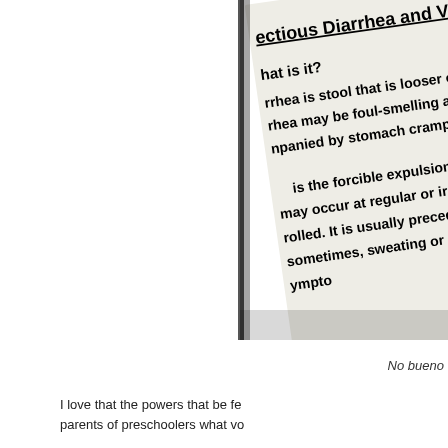[Figure (photo): A photograph of a printed medical document about Infectious Diarrhea and Vomiting, shown at an angle. The document text is partially visible, describing what diarrhea and vomiting are, with bold text on a slightly yellowed page.]
No bueno
I love that the powers that be fe... parents of preschoolers what vo...